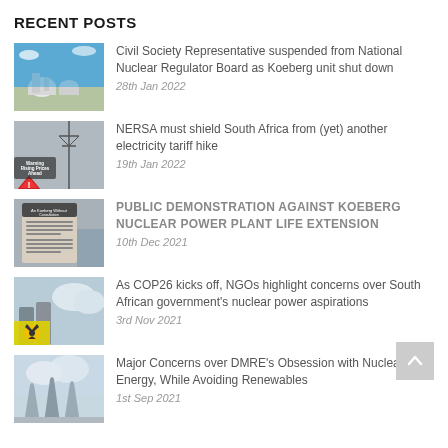RECENT POSTS
Civil Society Representative suspended from National Nuclear Regulator Board as Koeberg unit shut down
28th Jan 2022
NERSA must shield South Africa from (yet) another electricity tariff hike
19th Jan 2022
PUBLIC DEMONSTRATION AGAINST KOEBERG NUCLEAR POWER PLANT LIFE EXTENSION
10th Dec 2021
As COP26 kicks off, NGOs highlight concerns over South African government's nuclear power aspirations
3rd Nov 2021
Major Concerns over DMRE's Obsession with Nuclear Energy, While Avoiding Renewables
1st Sep 2021